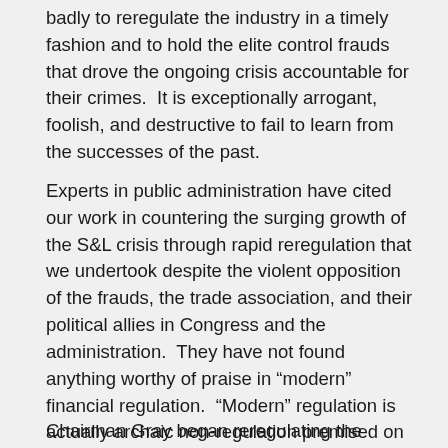badly to reregulate the industry in a timely fashion and to hold the elite control frauds that drove the ongoing crisis accountable for their crimes.  It is exceptionally arrogant, foolish, and destructive to fail to learn from the successes of the past.
Experts in public administration have cited our work in countering the surging growth of the S&L crisis through rapid reregulation that we undertook despite the violent opposition of the frauds, the trade association, and their political allies in Congress and the administration.  They have not found anything worthy of praise in “modern” financial regulation.  “Modern” regulation is actually archaic non-regulation premised on the dogma that markets are “self-correcting’ and automatically exclude fraud.
Chairman Gray began reregulating the industry in 1983 –